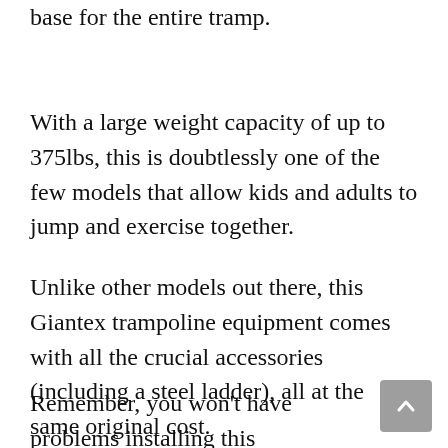base for the entire tramp.
With a large weight capacity of up to 375lbs, this is doubtlessly one of the few models that allow kids and adults to jump and exercise together.
Unlike other models out there, this Giantex trampoline equipment comes with all the crucial accessories (including a steel ladder), all at the same original cost.
Remember, you won't have problems installing this trampoline, thanks to the included assembly hardware and easy-to-